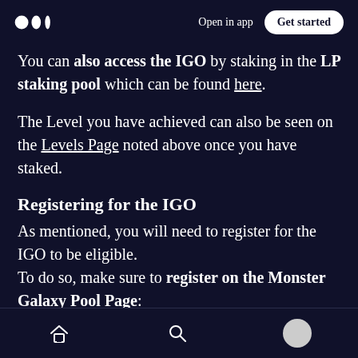Open in app | Get started
You can also access the IGO by staking in the LP staking pool which can be found here.
The Level you have achieved can also be seen on the Levels Page noted above once you have staked.
Registering for the IGO
As mentioned, you will need to register for the IGO to be eligible.
To do so, make sure to register on the Monster Galaxy Pool Page:
Home | Search | Profile